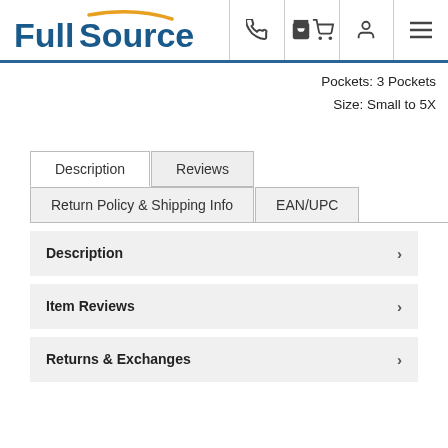FullSource [phone icon] [cart icon] [user icon] [menu icon]
Pockets: 3 Pockets
Size: Small to 5X
Description
Reviews
Return Policy & Shipping Info
EAN/UPC
Description
Item Reviews
Returns & Exchanges